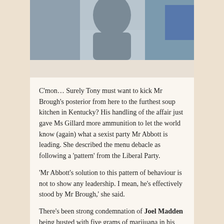[Figure (photo): Cropped photo of Liberal National Party candidate Mal Brough]
— Liberal National Party candidate Mal Brough
C'mon… Surely Tony must want to kick Mr Brough's posterior from here to the furthest soup kitchen in Kentucky? His handling of the affair just gave Ms Gillard more ammunition to let the world know (again) what a sexist party Mr Abbott is leading. She described the menu debacle as following a 'pattern' from the Liberal Party.
'Mr Abbott's solution to this pattern of behaviour is not to show any leadership. I mean, he's effectively stood by Mr Brough,' she said.
There's been strong condemnation of Joel Madden being busted with five grams of marijuana in his hotel. Not smart, but at least he had the decency to keep his misdemeanours behind closed doors.